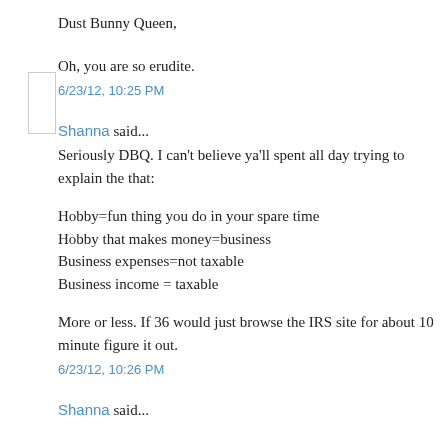Dust Bunny Queen,
Oh, you are so erudite.
6/23/12, 10:25 PM
Shanna said...
Seriously DBQ. I can't believe ya'll spent all day trying to explain the that:
Hobby=fun thing you do in your spare time
Hobby that makes money=business
Business expenses=not taxable
Business income = taxable
More or less. If 36 would just browse the IRS site for about 10 minute figure it out.
6/23/12, 10:26 PM
Shanna said...